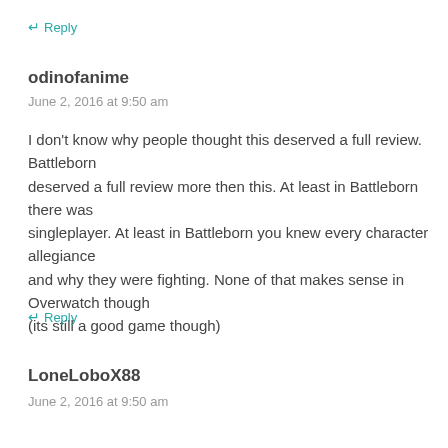← Reply
odinofanime
June 2, 2016 at 9:50 am
I don't know why people thought this deserved a full review. Battleborn deserved a full review more then this. At least in Battleborn there was singleplayer. At least in Battleborn you knew every character allegiance and why they were fighting. None of that makes sense in Overwatch though (its still a good game though)
← Reply
LoneLoboX88
June 2, 2016 at 9:50 am